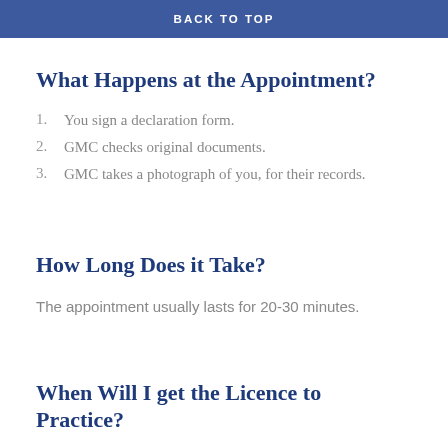BACK TO TOP
What Happens at the Appointment?
You sign a declaration form.
GMC checks original documents.
GMC takes a photograph of you, for their records.
How Long Does it Take?
The appointment usually lasts for 20-30 minutes.
When Will I get the Licence to Practice?
If everything checks out, GMC will send a GMC